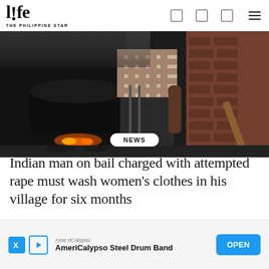l!fe THE PHILIPPINE STAR
[Figure (photo): A person in a checkered shirt bent over a large dark pot over an open fire, with brick wall in background]
NEWS
Indian man on bail charged with attempted rape must wash women's clothes in his village for six months
SEPTEMBER 24, 2021
[Figure (other): AmeriCalypso Steel Drum Band advertisement banner with OPEN button]